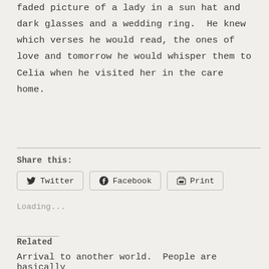faded picture of a lady in a sun hat and dark glasses and a wedding ring. He knew which verses he would read, the ones of love and tomorrow he would whisper them to Celia when he visited her in the care home.
Share this:
[Figure (screenshot): Share buttons row: Twitter, Facebook, Print]
Loading...
Related
Arrival to another world.  People are basically